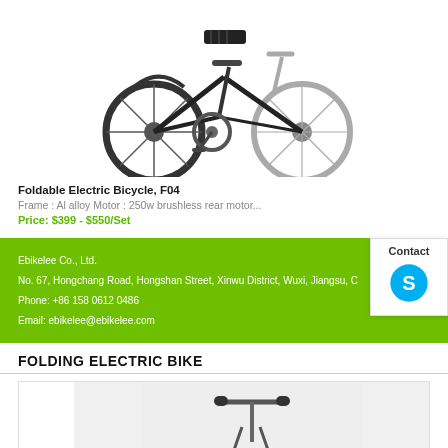[Figure (photo): Foldable electric bicycle photo, side view, dark frame with large wheels]
Foldable Electric Bicycle, F04
Frame : Al alloy Motor : 250w brushless rear motor...
Price: $399 - $550/Set
Ebikelee Co., Ltd.
No. 67, Hongchang Road, Hongshan Street, Xinwu District, Wuxi, Jiangsu, C...
Phone: +86 158 0612 0486
Email: ebikelee@ebikelee.com
[Figure (logo): Contact box with Skype icon]
FOLDING ELECTRIC BIKE
[Figure (photo): Folding electric bike partial photo, handlebar area visible, gray background]